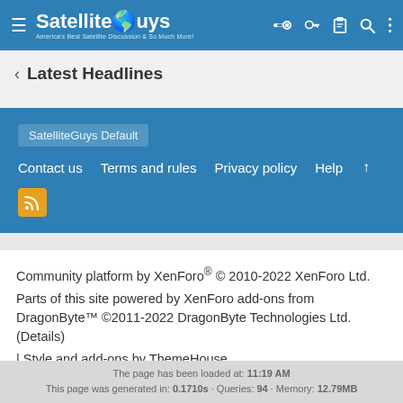SatelliteGuys — America's Best Satellite Discussion & So Much More!
< Latest Headlines
SatelliteGuys Default
Contact us  Terms and rules  Privacy policy  Help  ↑
Community platform by XenForo® © 2010-2022 XenForo Ltd.
Parts of this site powered by XenForo add-ons from DragonByte™ ©2011-2022 DragonByte Technologies Ltd. (Details)
| Style and add-ons by ThemeHouse
The page has been loaded at: 11:19 AM
This page was generated in: 0.1710s · Queries: 94 · Memory: 12.79MB